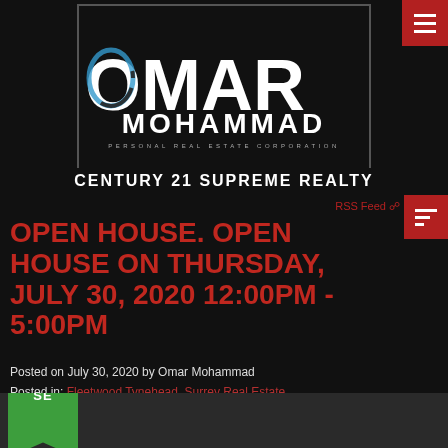[Figure (logo): Omar Mohammad Personal Real Estate Corporation logo with Century 21 Supreme Realty text below, white text on black background with bordered box]
OPEN HOUSE. OPEN HOUSE ON THURSDAY, JULY 30, 2020 12:00PM - 5:00PM
Posted on July 30, 2020 by Omar Mohammad
Posted in: Fleetwood Tynehead, Surrey Real Estate
[Figure (illustration): Bottom portion of a property photo showing an open house green ribbon badge in the corner]